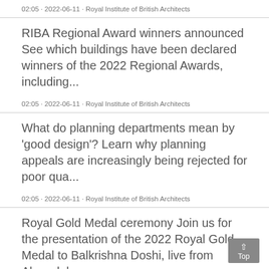02:05 · 2022-06-11 · Royal Institute of British Architects
RIBA Regional Award winners announced See which buildings have been declared winners of the 2022 Regional Awards, including...
02:05 · 2022-06-11 · Royal Institute of British Architects
What do planning departments mean by 'good design'? Learn why planning appeals are increasingly being rejected for poor qua...
02:05 · 2022-06-11 · Royal Institute of British Architects
Royal Gold Medal ceremony Join us for the presentation of the 2022 Royal Gold Medal to Balkrishna Doshi, live from Ahmedaba...